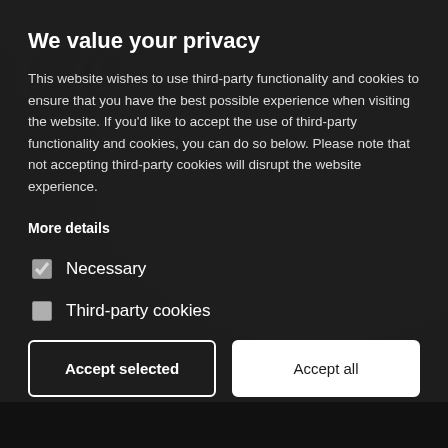[Figure (screenshot): Dark background with faded social media icons visible behind the cookie consent modal]
We value your privacy
This website wishes to use third-party functionality and cookies to ensure that you have the best possible experience when visiting the website. If you'd like to accept the use of third-party functionality and cookies, you can do so below. Please note that not accepting third-party cookies will disrupt the website experience.
More details
Necessary
Third-party cookies
Accept selected | Accept all